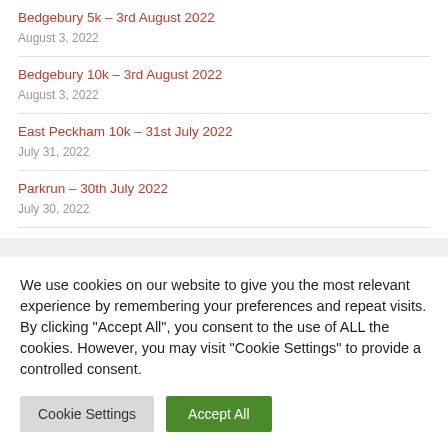Bedgebury 5k – 3rd August 2022
August 3, 2022
Bedgebury 10k – 3rd August 2022
August 3, 2022
East Peckham 10k – 31st July 2022
July 31, 2022
Parkrun – 30th July 2022
July 30, 2022
We use cookies on our website to give you the most relevant experience by remembering your preferences and repeat visits. By clicking "Accept All", you consent to the use of ALL the cookies. However, you may visit "Cookie Settings" to provide a controlled consent.